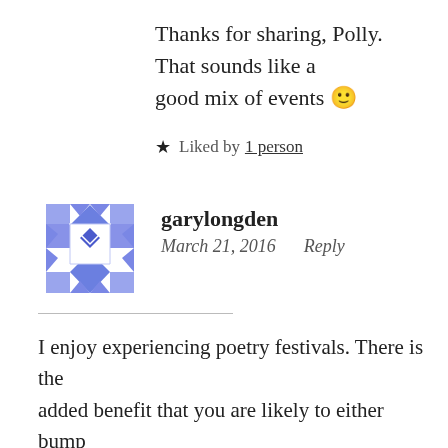Thanks for sharing, Polly. That sounds like a good mix of events 🙂
★ Liked by 1 person
garylongden
March 21, 2016   Reply
I enjoy experiencing poetry festivals. There is the added benefit that you are likely to either bump into old acquaintances or friends, or make new ones. One of the attractions is the frisson of the unknown.
Name poets on the page come with no guarantee that they will impress live and the mix-